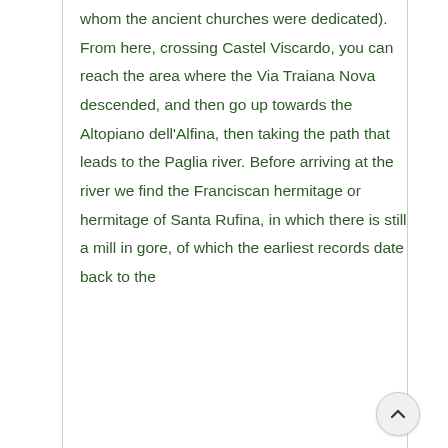whom the ancient churches were dedicated). From here, crossing Castel Viscardo, you can reach the area where the Via Traiana Nova descended, and then go up towards the Altopiano dell'Alfina, then taking the path that leads to the Paglia river. Before arriving at the river we find the Franciscan hermitage or hermitage of Santa Rufina, in which there is still a mill in gore, of which the earliest records date back to the